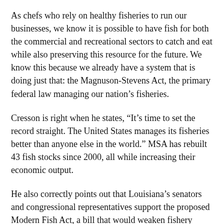As chefs who rely on healthy fisheries to run our businesses, we know it is possible to have fish for both the commercial and recreational sectors to catch and eat while also preserving this resource for the future. We know this because we already have a system that is doing just that: the Magnuson-Stevens Act, the primary federal law managing our nation’s fisheries.
Cresson is right when he states, “It’s time to set the record straight. The United States manages its fisheries better than anyone else in the world.” MSA has rebuilt 43 fish stocks since 2000, all while increasing their economic output.
He also correctly points out that Louisiana’s senators and congressional representatives support the proposed Modern Fish Act, a bill that would weaken fishery management and is supported by Cresson’s Coastal Conservation Association.